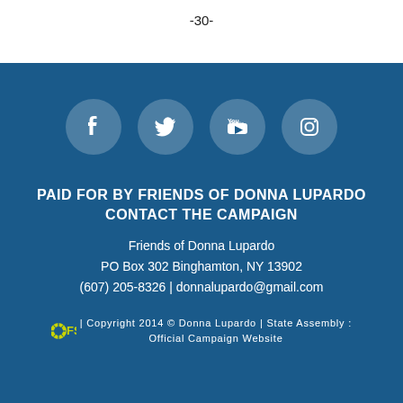-30-
[Figure (illustration): Four social media icon circles (Facebook, Twitter, YouTube, Instagram) on blue background]
PAID FOR BY FRIENDS OF DONNA LUPARDO
CONTACT THE CAMPAIGN
Friends of Donna Lupardo
PO Box 302 Binghamton, NY 13902
(607) 205-8326 | donnalupardo@gmail.com
FS | Copyright 2014 © Donna Lupardo | State Assembly : Official Campaign Website